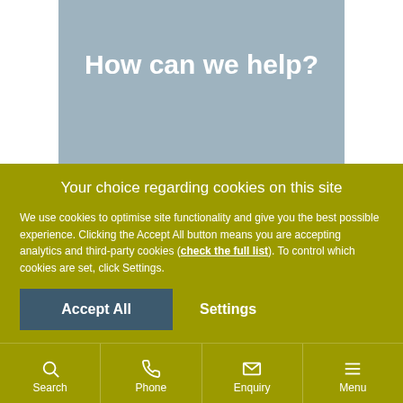How can we help?
Your choice regarding cookies on this site
We use cookies to optimise site functionality and give you the best possible experience. Clicking the Accept All button means you are accepting analytics and third-party cookies (check the full list). To control which cookies are set, click Settings.
Accept All | Settings
Search | Phone | Enquiry | Menu